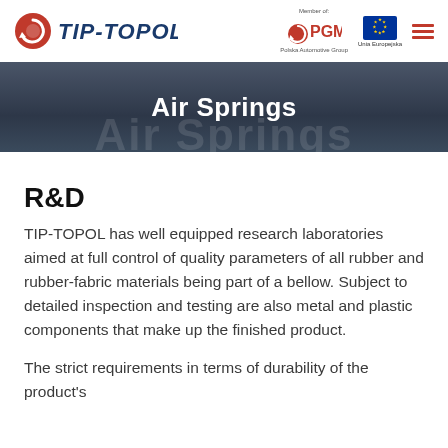[Figure (logo): TIP-TOPOL company logo with red circular icon and blue stylized text, Member of PGM (Polska Automotive Group) logo, EU flag logo, and hamburger menu icon]
Air Springs
R&D
TIP-TOPOL has well equipped research laboratories aimed at full control of quality parameters of all rubber and rubber-fabric materials being part of a bellow. Subject to detailed inspection and testing are also metal and plastic components that make up the finished product.
The strict requirements in terms of durability of the product's